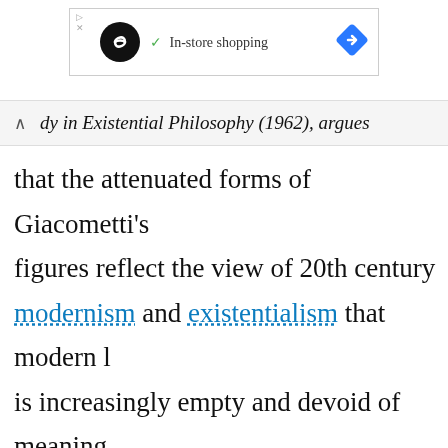[Figure (screenshot): Advertisement banner with infinity loop logo icon, checkmark, 'In-store shopping' text, and a blue diamond navigation arrow icon]
dy in Existential Philosophy (1962), argues that the attenuated forms of Giacometti's figures reflect the view of 20th century modernism and existentialism that modern life is increasingly empty and devoid of meaning. "All the sculptures of today, like those of the past, will end one day in pieces...So it is important to fashion one's work carefully in smallest recess and charge every particle of